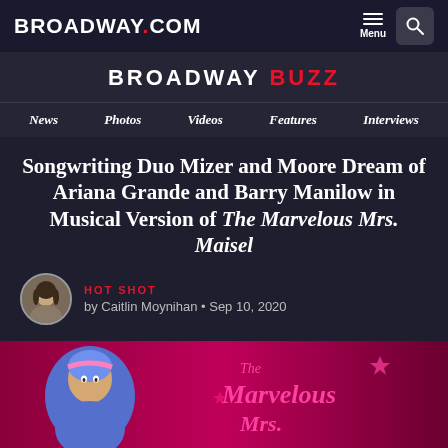BROADWAY.COM — Menu / Search
BROADWAY BUZZ
News  Photos  Videos  Features  Interviews
Songwriting Duo Mizer and Moore Dream of Ariana Grande and Barry Manilow in Musical Version of The Marvelous Mrs. Maisel
HOT SHOT
by Caitlin Moynihan • Sep 10, 2020
[Figure (illustration): Illustrated artwork for The Marvelous Mrs. Maisel musical showing animated character and show logo in pink/magenta colors]